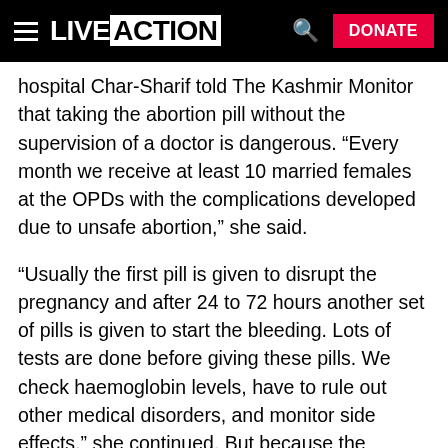LIVE ACTION | DONATE
hospital Char-Sharif told The Kashmir Monitor that taking the abortion pill without the supervision of a doctor is dangerous. “Every month we receive at least 10 married females at the OPDs with the complications developed due to unsafe abortion,” she said.
“Usually the first pill is given to disrupt the pregnancy and after 24 to 72 hours another set of pills is given to start the bleeding. Lots of tests are done before giving these pills. We check haemoglobin levels, have to rule out other medical disorders, and monitor side effects,” she continued. But because the abortion pill is easily accessible without seeing a doctor, she explained, “Many come